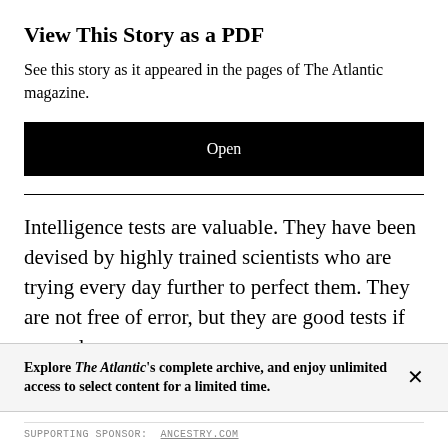View This Story as a PDF
See this story as it appeared in the pages of The Atlantic magazine.
Open
Intelligence tests are valuable. They have been devised by highly trained scientists who are trying every day further to perfect them. They are not free of error, but they are good tests if properly
Explore The Atlantic's complete archive, and enjoy unlimited access to select content for a limited time.
SUPPORTING SPONSOR:  ANCESTRY.COM